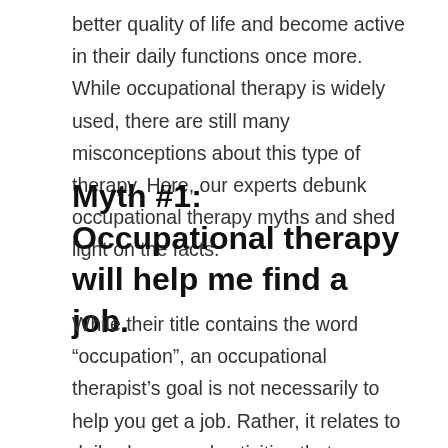better quality of life and become active in their daily functions once more. While occupational therapy is widely used, there are still many misconceptions about this type of therapy. Here, our experts debunk occupational therapy myths and shed light on the facts.
Myth #1: Occupational therapy will help me find a job.
While their title contains the word “occupation”, an occupational therapist’s goal is not necessarily to help you get a job. Rather, it relates to daily chores and activities that everyone needs or wishes to partake in. These tasks include eating, dressing, driving and more. It can also refer to things that people do within a work setting, such as writing, sitting for an extended period or